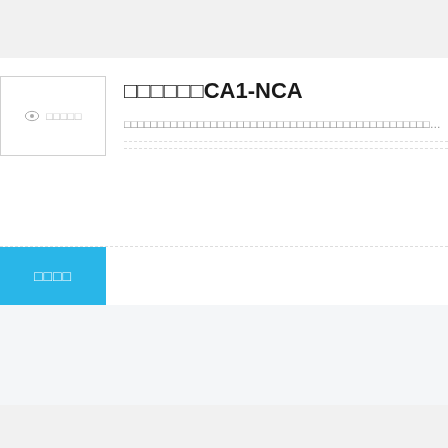[Figure (other): Thumbnail placeholder with eye icon and Japanese text]
□□□□□□CA1-NCA
□□□□□□□□□□□□□□□□□□□□□□□□□□□□□□□□□□□□□□□□□□□□□□CA1-NCA□□□□□□□□□□□□
□□□□